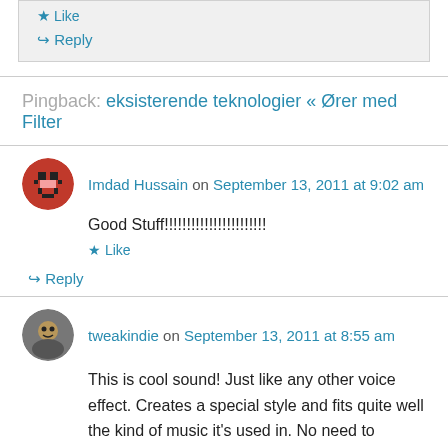Like  ↵ Reply
Pingback: eksisterende teknologier « Ører med Filter
Imdad Hussain on September 13, 2011 at 9:02 am
Good Stuff!!!!!!!!!!!!!!!!!!!!!!!
Like
Reply
tweakindie on September 13, 2011 at 8:55 am
This is cool sound! Just like any other voice effect. Creates a special style and fits quite well the kind of music it's used in. No need to defend